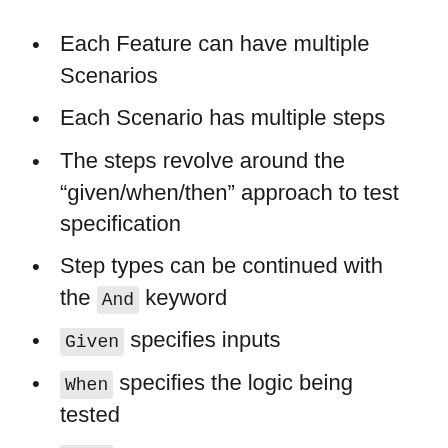Each Feature can have multiple Scenarios
Each Scenario has multiple steps
The steps revolve around the “given/when/then” approach to test specification
Step types can be continued with the And keyword
Given specifies inputs
When specifies the logic being tested
Then specifies the result
We might have a number of other scenarios relating to games. Specifically, the “winner”